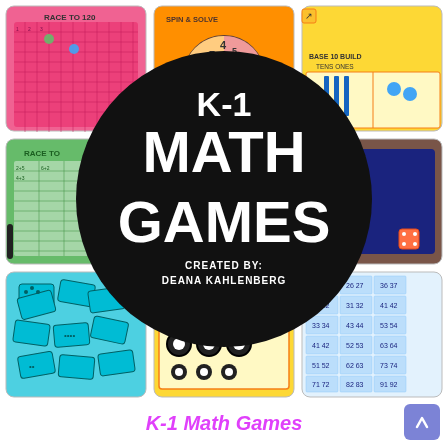[Figure (illustration): Collage of K-1 math game photos arranged in a 3x3 grid around a central black circle. Photos show: Race to 120 board game (pink), Spin and Solve spinner worksheet (orange), Base 10 Build mat (yellow), Race to board game (green), Remove board game with counters, cyan domino cards, yellow number track with game pieces, blue number grid cards. Central black circle contains white bold text 'K-1 MATH GAMES' and 'CREATED BY: DEANA KAHLENBERG'.]
K-1 Math Games